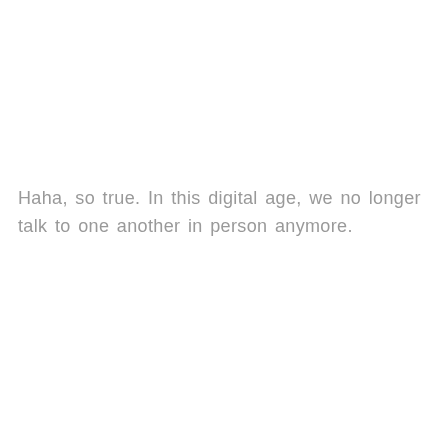Haha, so true.  In this  digital  age,  we  no  longer  talk  to  one another in person anymore.